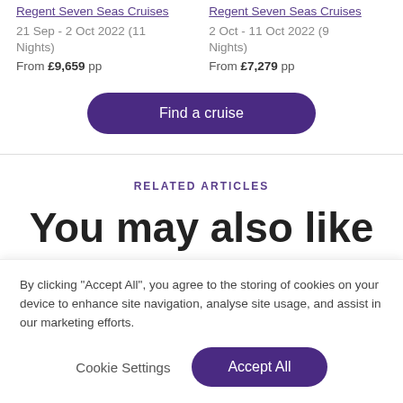Regent Seven Seas Cruises
21 Sep - 2 Oct 2022 (11 Nights)
From £9,659 pp
Regent Seven Seas Cruises
2 Oct - 11 Oct 2022 (9 Nights)
From £7,279 pp
Find a cruise
RELATED ARTICLES
You may also like
By clicking "Accept All", you agree to the storing of cookies on your device to enhance site navigation, analyse site usage, and assist in our marketing efforts.
Cookie Settings
Accept All